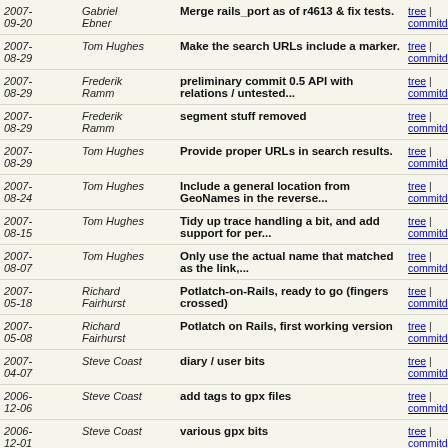| Date | Author | Message | Links |
| --- | --- | --- | --- |
| 2007-09-20 | Gabriel Ebner | Merge rails_port as of r4613 & fix tests. | tree | commitdiff |
| 2007-08-29 | Tom Hughes | Make the search URLs include a marker. | tree | commitdiff |
| 2007-08-29 | Frederik Ramm | preliminary commit 0.5 API with relations / untested... | tree | commitdiff |
| 2007-08-29 | Frederik Ramm | segment stuff removed | tree | commitdiff |
| 2007-08-29 | Tom Hughes | Provide proper URLs in search results. | tree | commitdiff |
| 2007-08-24 | Tom Hughes | Include a general location from GeoNames in the reverse... | tree | commitdiff |
| 2007-08-15 | Tom Hughes | Tidy up trace handling a bit, and add support for per... | tree | commitdiff |
| 2007-08-07 | Tom Hughes | Only use the actual name that matched as the link,... | tree | commitdiff |
| 2007-05-18 | Richard Fairhurst | Potlatch-on-Rails, ready to go (fingers crossed) | tree | commitdiff |
| 2007-05-08 | Richard Fairhurst | Potlatch on Rails, first working version | tree | commitdiff |
| 2007-04-07 | Steve Coast | diary / user bits | tree | commitdiff |
| 2006-12-06 | Steve Coast | add tags to gpx files | tree | commitdiff |
| 2006-12-01 | Steve Coast | various gpx bits | tree | commitdiff |
| 2006-... | Steve Coast | ... | tree |